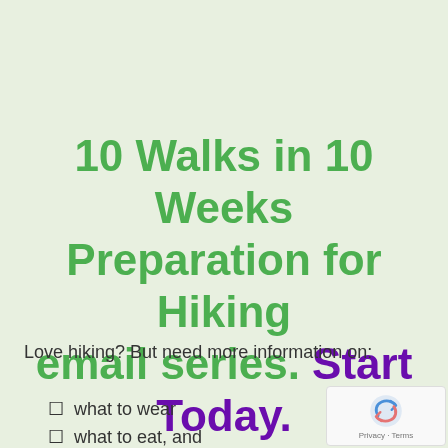10 Walks in 10 Weeks Preparation for Hiking email series. Start Today.
Love hiking?  But need more information on:
what to wear
what to eat, and